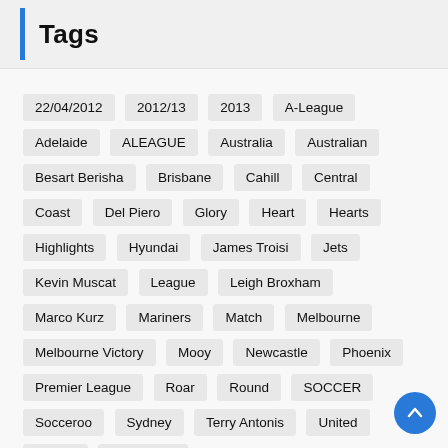Tags
22/04/2012
2012/13
2013
A-League
Adelaide
ALEAGUE
Australia
Australian
Besart Berisha
Brisbane
Cahill
Central
Coast
Del Piero
Glory
Heart
Hearts
Highlights
Hyundai
James Troisi
Jets
Kevin Muscat
League
Leigh Broxham
Marco Kurz
Mariners
Match
Melbourne
Melbourne Victory
Mooy
Newcastle
Phoenix
Premier League
Roar
Round
SOCCER
Socceroos
Sydney
Terry Antonis
United
Victory
Wanderers